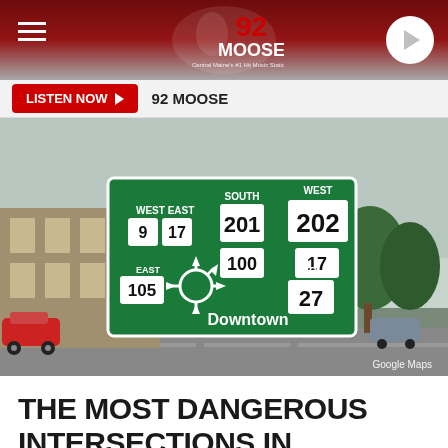92 MOOSE - Central Maine's #1 Hit Music Station
LISTEN NOW  92 MOOSE
[Figure (photo): Google Street View photo of a green highway directional sign showing routes SOUTH 201, WEST 202, 100, WEST 9, EAST 17, EAST 17, TO 27, EAST 105, and Downtown with a roundabout symbol. Attribution: Google Maps.]
THE MOST DANGEROUS INTERSECTIONS IN CENTRAL